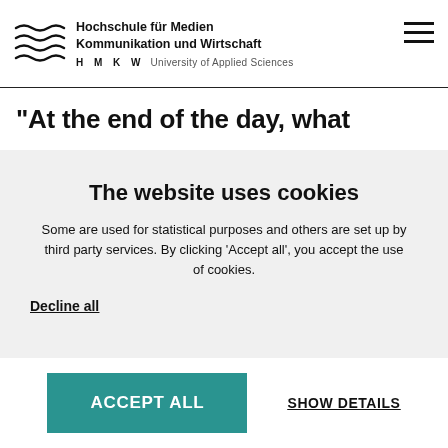[Figure (logo): HMKW logo with wave/lines graphic and text: Hochschschule für Medien Kommunikation und Wirtschaft, University of Applied Sciences]
"At the end of the day, what
The website uses cookies
Some are used for statistical purposes and others are set up by third party services. By clicking ‘Accept all’, you accept the use of cookies.
Decline all
ACCEPT ALL
SHOW DETAILS